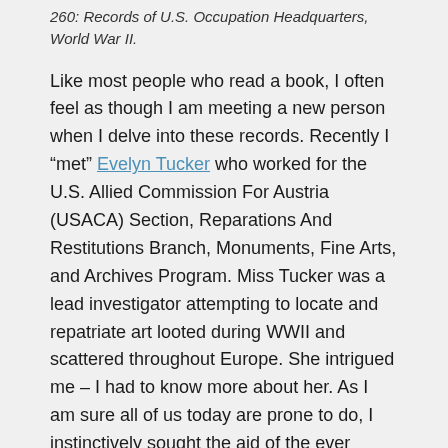260: Records of U.S. Occupation Headquarters, World War II.
Like most people who read a book, I often feel as though I am meeting a new person when I delve into these records. Recently I “met” Evelyn Tucker who worked for the U.S. Allied Commission For Austria (USACA) Section, Reparations And Restitutions Branch, Monuments, Fine Arts, and Archives Program. Miss Tucker was a lead investigator attempting to locate and repatriate art looted during WWII and scattered throughout Europe. She intrigued me – I had to know more about her. As I am sure all of us today are prone to do, I instinctively sought the aid of the ever present internet. I would have preferred to go directly to our own databases, military and civilian given her service in both, and look for her there, but in the end, I was heading in that general direction.